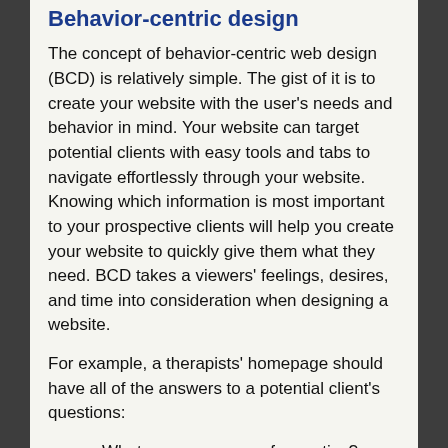Behavior-centric design
The concept of behavior-centric web design (BCD) is relatively simple. The gist of it is to create your website with the user's needs and behavior in mind. Your website can target potential clients with easy tools and tabs to navigate effortlessly through your website. Knowing which information is most important to your prospective clients will help you create your website to quickly give them what they need. BCD takes a viewers' feelings, desires, and time into consideration when designing a website.
For example, a therapists' homepage should have all of the answers to a potential client's questions:
What are your areas of expertise?
What are your rates? Do you take insurance?
What are your qualifications?
How long have you been practicing